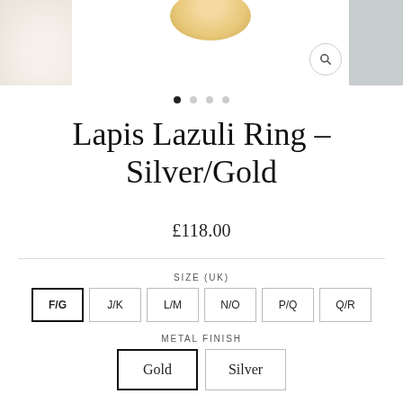[Figure (photo): Product image strip showing jewelry photos at top: left panel shows floral/cream background, center shows a gold ring, right panel shows grey background. Search icon visible top right.]
Lapis Lazuli Ring - Silver/Gold
£118.00
SIZE (UK)
F/G (selected)
J/K
L/M
N/O
P/Q
Q/R
METAL FINISH
Gold (selected)
Silver